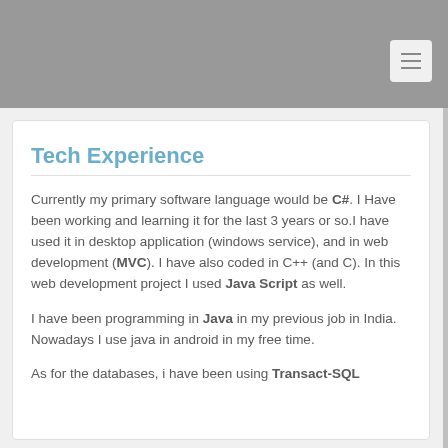Tech Experience
Currently my primary software language would be C#. I Have been working and learning it for the last 3 years or so.I have used it in desktop application (windows service), and in web development (MVC). I have also coded in C++ (and C). In this web development project I used Java Script as well.
I have been programming in Java in my previous job in India. Nowadays I use java in android in my free time.
As for the databases, i have been using Transact-SQL